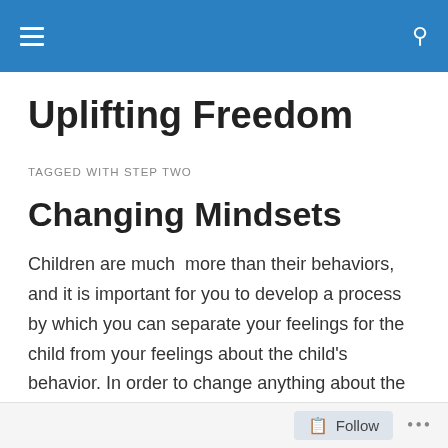Uplifting Freedom — navigation bar
Uplifting Freedom
TAGGED WITH STEP TWO
Changing Mindsets
Children are much  more than their behaviors, and it is important for you to develop a process by which you can separate your feelings for the child from your feelings about the child's behavior. In order to change anything about the environment or how you implement your
Follow